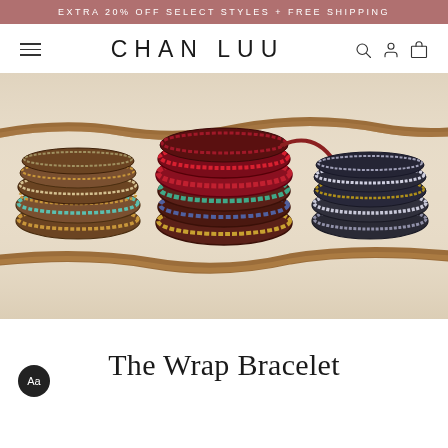EXTRA 20% OFF SELECT STYLES + FREE SHIPPING
[Figure (logo): Chan Luu brand logo with hamburger menu on left and search, account, cart icons on right]
[Figure (photo): Three beaded wrap bracelets displayed on a cream fabric surface with a brown suede cord. Left bracelet has turquoise and bronze beads, center bracelet has red, green, blue and gold beads on dark leather, right bracelet has silver and bronze metallic beads on dark leather.]
The Wrap Bracelet